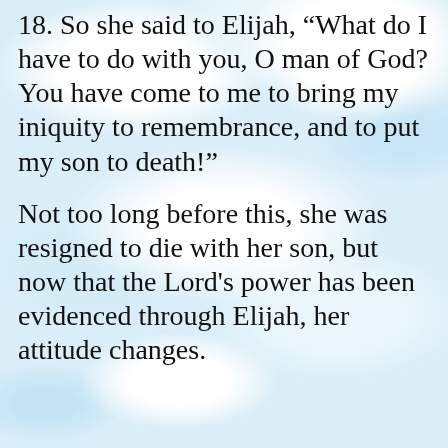18. So she said to Elijah, “What do I have to do with you, O man of God? You have come to me to bring my iniquity to remembrance, and to put my son to death!”
Not too long before this, she was resigned to die with her son, but now that the Lord's power has been evidenced through Elijah, her attitude changes.